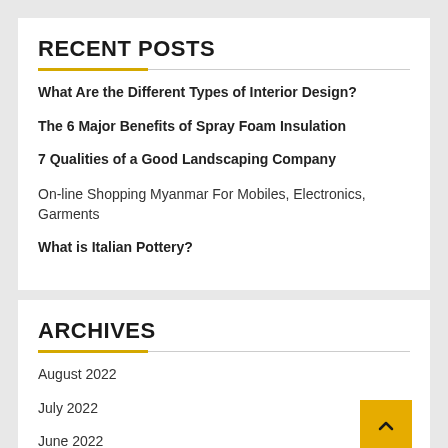RECENT POSTS
What Are the Different Types of Interior Design?
The 6 Major Benefits of Spray Foam Insulation
7 Qualities of a Good Landscaping Company
On-line Shopping Myanmar For Mobiles, Electronics, Garments
What is Italian Pottery?
ARCHIVES
August 2022
July 2022
June 2022